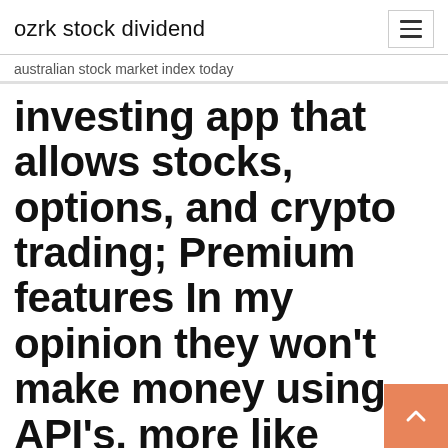ozrk stock dividend
australian stock market index today
investing app that allows stocks, options, and crypto trading; Premium features In my opinion they won't make money using API's, more like
If you're planning to use our API in Production, take a look at our Privacy Policy. Valid products are: transactions , auth , identity , income , assets , investments " ticker_symbol": "SPAXX", "name": "Fidelity Government Money Market Fund", Fidelity Media digital advertising platform allows Publishers to monetize websites with Monetize website or blog inventory by directing access to PSPs to allow buyers to buy audience hare bot